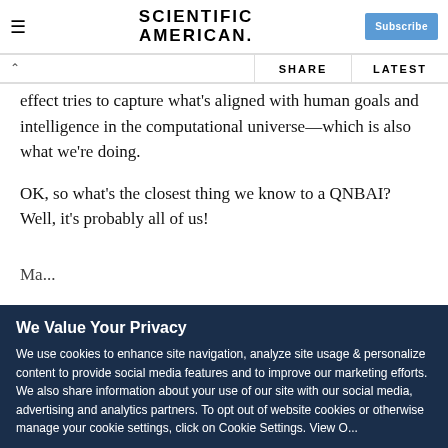SCIENTIFIC AMERICAN
effect tries to capture what's aligned with human goals and intelligence in the computational universe—which is also what we're doing.
OK, so what's the closest thing we know to a QNBAI? Well, it's probably all of us!
We Value Your Privacy
We use cookies to enhance site navigation, analyze site usage & personalize content to provide social media features and to improve our marketing efforts. We also share information about your use of our site with our social media, advertising and analytics partners. To opt out of website cookies or otherwise manage your cookie settings, click on Cookie Settings. View O...